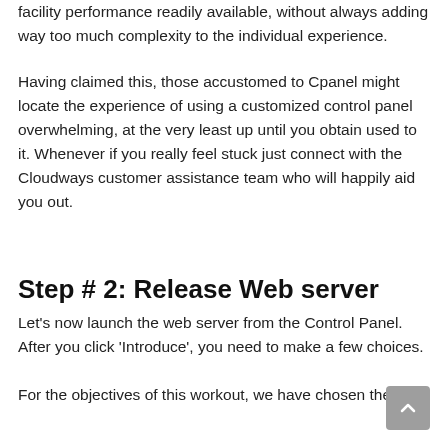facility performance readily available, without always adding way too much complexity to the individual experience.
Having claimed this, those accustomed to Cpanel might locate the experience of using a customized control panel overwhelming, at the very least up until you obtain used to it. Whenever if you really feel stuck just connect with the Cloudways customer assistance team who will happily aid you out.
Step # 2: Release Web server
Let's now launch the web server from the Control Panel. After you click 'Introduce', you need to make a few choices.
For the objectives of this workout, we have chosen the